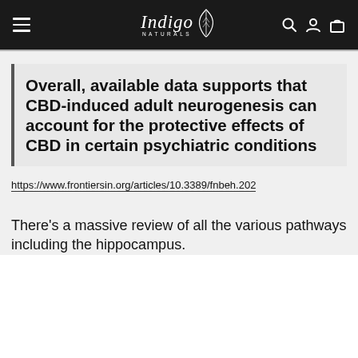Indigo Naturals
Overall, available data supports that CBD-induced adult neurogenesis can account for the protective effects of CBD in certain psychiatric conditions
https://www.frontiersin.org/articles/10.3389/fnbeh.202
There's a massive review of all the various pathways including the hippocampus.